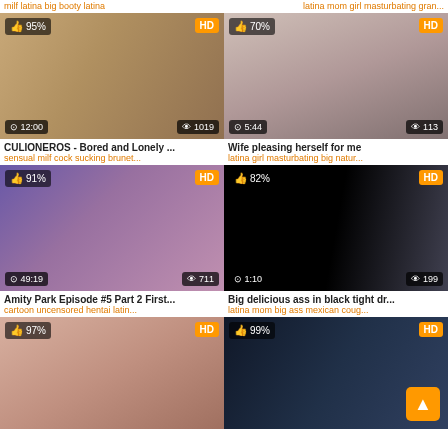milf latina big booty latina ... latina mom girl masturbating gran...
[Figure (photo): Video thumbnail 1 - 95% like, HD, 12:00 duration, 1019 views]
CULIONEROS - Bored and Lonely ...
sensual milf cock sucking brunet...
[Figure (photo): Video thumbnail 2 - 70% like, HD, 5:44 duration, 113 views]
Wife pleasing herself for me
latina girl masturbating big natur...
[Figure (photo): Video thumbnail 3 - 91% like, HD, 49:19 duration, 711 views - cartoon animation]
Amity Park Episode #5 Part 2 First...
cartoon uncensored hentai latin...
[Figure (photo): Video thumbnail 4 - 82% like, HD, 1:10 duration, 199 views]
Big delicious ass in black tight dr...
latina mom big ass mexican coug...
[Figure (photo): Video thumbnail 5 - 97% like, HD, partial view]
[Figure (photo): Video thumbnail 6 - 99% like, HD, partial view with scroll-to-top button]